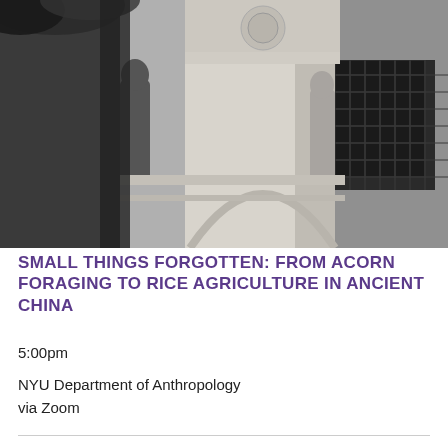[Figure (photo): Black and white photograph taken from below looking up at the Washington Square Arch, showing ornate stone carvings, arch details, and a dark latticed archway opening against a grey sky with foliage visible at top left.]
SMALL THINGS FORGOTTEN: FROM ACORN FORAGING TO RICE AGRICULTURE IN ANCIENT CHINA
5:00pm
NYU Department of Anthropology
via Zoom